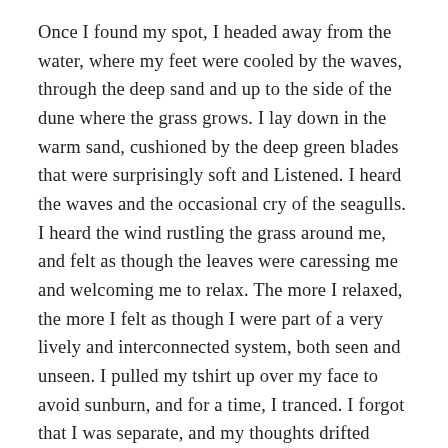Once I found my spot, I headed away from the water, where my feet were cooled by the waves, through the deep sand and up to the side of the dune where the grass grows. I lay down in the warm sand, cushioned by the deep green blades that were surprisingly soft and Listened. I heard the waves and the occasional cry of the seagulls. I heard the wind rustling the grass around me, and felt as though the leaves were caressing me and welcoming me to relax. The more I relaxed, the more I felt as though I were part of a very lively and interconnected system, both seen and unseen. I pulled my tshirt up over my face to avoid sunburn, and for a time, I tranced. I forgot that I was separate, and my thoughts drifted further and further apart so that in the space between I could just breathe in exchange with the world around me.